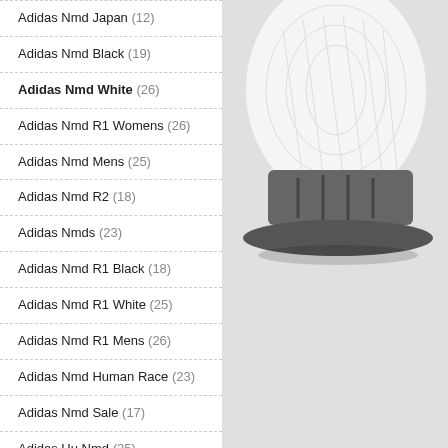Adidas Nmd Japan (12)
Adidas Nmd Black (19)
Adidas Nmd White (26)
Adidas Nmd R1 Womens (26)
Adidas Nmd Mens (25)
Adidas Nmd R2 (18)
Adidas Nmds (23)
Adidas Nmd R1 Black (18)
Adidas Nmd R1 White (25)
Adidas Nmd R1 Mens (26)
Adidas Nmd Human Race (23)
Adidas Nmd Sale (17)
Adidas Hu Nmd (25)
Adidas Originals Nmd_R1 (27)
Adidas Nmd Primeknit (28)
[Figure (photo): Close-up of an Adidas NMD shoe, white knit upper with grey/black midsole plug, on a light grey background]